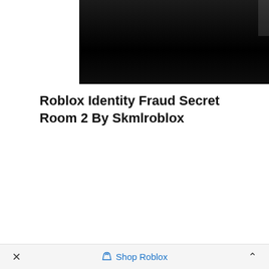[Figure (screenshot): Dark Roblox game screenshot showing a dark scene, partially cropped at top]
Roblox Identity Fraud Secret Room 2 By Skmlroblox
[Figure (screenshot): Dark Roblox game screenshot showing a character silhouette in a dark room with a dialog box showing text: 'What makes any of us who we are? ???']
× Shop Roblox ^